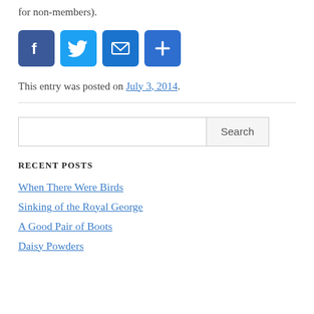for non-members).
[Figure (infographic): Social share buttons: Facebook (blue), Twitter (blue bird), Email (blue envelope), More/Plus (blue plus sign)]
This entry was posted on July 3, 2014.
[Figure (other): Horizontal divider line]
[Figure (other): Search box with Search button]
RECENT POSTS
When There Were Birds
Sinking of the Royal George
A Good Pair of Boots
Daisy Powders